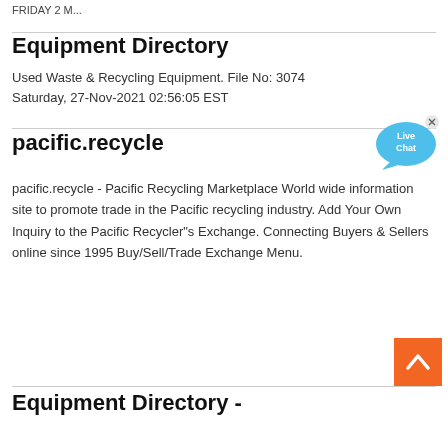FRIDAY 2 M...
Equipment Directory
Used Waste & Recycling Equipment. File No: 3074
Saturday, 27-Nov-2021 02:56:05 EST
pacific.recycle
[Figure (illustration): Live Chat speech bubble icon in blue with 'Live Chat' text and a close (x) button]
pacific.recycle - Pacific Recycling Marketplace World wide information site to promote trade in the Pacific recycling industry. Add Your Own Inquiry to the Pacific Recycler"s Exchange. Connecting Buyers & Sellers online since 1995 Buy/Sell/Trade Exchange Menu.
[Figure (illustration): Orange scroll-to-top button with upward-pointing chevron/arrow icon]
Equipment Directory -